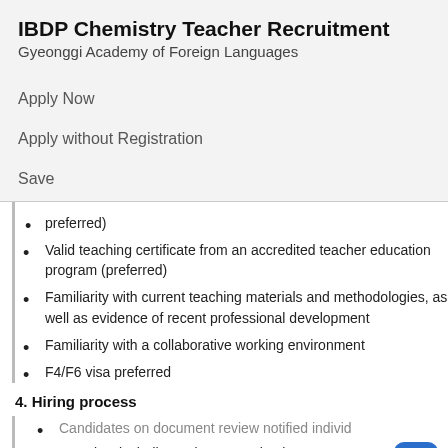IBDP Chemistry Teacher Recruitment
Gyeonggi Academy of Foreign Languages
Apply Now
Apply without Registration
Save
preferred)
Valid teaching certificate from an accredited teacher education program (preferred)
Familiarity with current teaching materials and methodologies, as well as evidence of recent professional development
Familiarity with a collaborative working environment
F4/F6 visa preferred
4. Hiring process
Candidates on document review notified individ…
Interview including a demonstration lecture
Individual Notification of the successful candidate